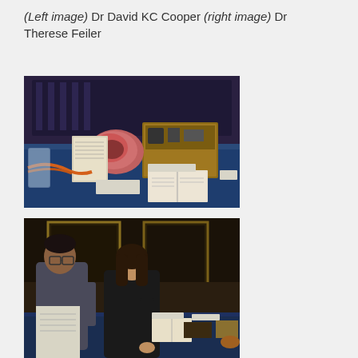(Left image) Dr David KC Cooper (right image) Dr Therese Feiler
[Figure (photo): Museum display table with medical/scientific instruments including a pink anatomical model, wooden box with equipment, books, and various items on a blue cloth-covered table in a historic room.]
[Figure (photo): Two people, a man and a woman, standing at a blue cloth-covered table examining documents and objects in a historic room with ornate paintings on the walls.]